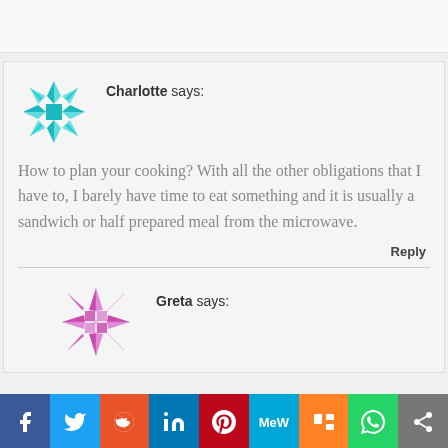Charlotte says:
How to plan your cooking? With all the other obligations that I have to, I barely have time to eat something and it is usually a sandwich or half prepared meal from the microwave.
Reply
Greta says: